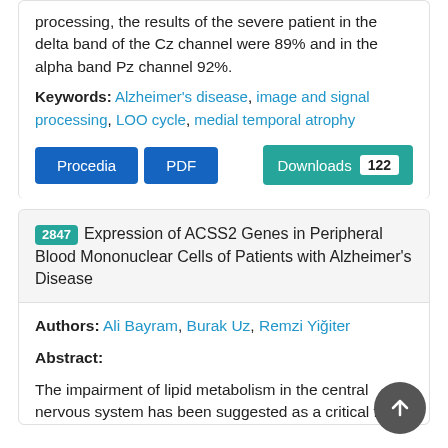processing, the results of the severe patient in the delta band of the Cz channel were 89% and in the alpha band Pz channel 92%.
Keywords: Alzheimer's disease, image and signal processing, LOO cycle, medial temporal atrophy
[Figure (other): Buttons: Procedia, PDF, Downloads 122]
2847 Expression of ACSS2 Genes in Peripheral Blood Mononuclear Cells of Patients with Alzheimer's Disease
Authors: Ali Bayram, Burak Uz, Remzi Yiğiter
Abstract:
The impairment of lipid metabolism in the central nervous system has been suggested as a critical factor